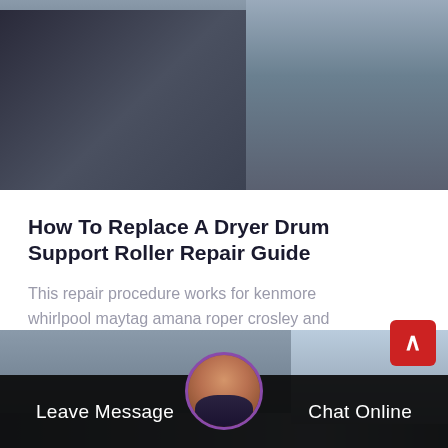[Figure (photo): Two technicians/repairmen in dark clothing, possibly handling keys or parts. Workshop or industrial setting.]
How To Replace A Dryer Drum Support Roller Repair Guide
This repair procedure works for kenmore whirlpool maytag amana roper crosley and estate dryers with a lint screen housing locate…
[Figure (photo): Industrial or workshop interior, ceiling with ducts and pipes visible. Dark scene with two panel sections.]
Leave Message
Chat Online